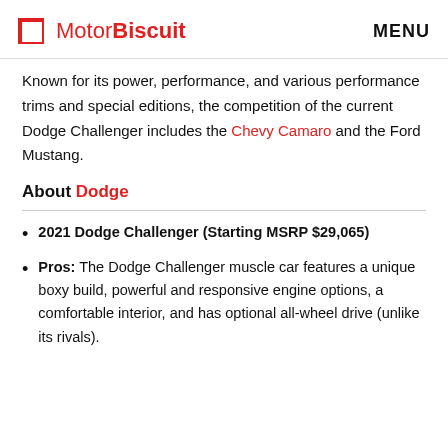MotorBiscuit  MENU
Known for its power, performance, and various performance trims and special editions, the competition of the current Dodge Challenger includes the Chevy Camaro and the Ford Mustang.
About Dodge
2021 Dodge Challenger (Starting MSRP $29,065)
Pros: The Dodge Challenger muscle car features a unique boxy build, powerful and responsive engine options, a comfortable interior, and has optional all-wheel drive (unlike its rivals).